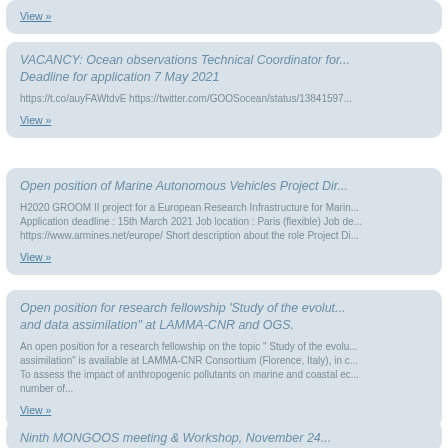View »
VACANCY: Ocean observations Technical Coordinator for... Deadline for application 7 May 2021
https://t.co/auyFAWtdvE https://twitter.com/GOOSocean/status/13841597...
View »
Open position of Marine Autonomous Vehicles Project Dir...
H2020 GROOM II project for a European Research Infrastructure for Marin... Application deadline : 15th March 2021 Job location : Paris (flexible) Job de... https://www.armines.net/europe/ Short description about the role Project Di...
View »
Open position for research fellowship 'Study of the evolut... and data assimilation" at LAMMA-CNR and OGS.
An open position for a research fellowship on the topic " Study of the evolu... assimilation" is available at LAMMA-CNR Consortium (Florence, Italy), in c... To assess the impact of anthropogenic pollutants on marine and coastal ec... number of...
View »
Ninth MONGOOS meeting & Workshop, November 24...